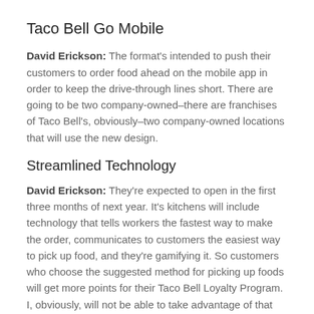Taco Bell Go Mobile
David Erickson: The format's intended to push their customers to order food ahead on the mobile app in order to keep the drive-through lines short. There are going to be two company-owned–there are franchises of Taco Bell's, obviously–two company-owned locations that will use the new design.
Streamlined Technology
David Erickson: They're expected to open in the first three months of next year. It's kitchens will include technology that tells workers the fastest way to make the order, communicates to customers the easiest way to pick up food, and they're gamifying it. So customers who choose the suggested method for picking up foods will get more points for their Taco Bell Loyalty Program. I, obviously, will not be able to take advantage of that because I will never eat at Taco Bell. But, um–